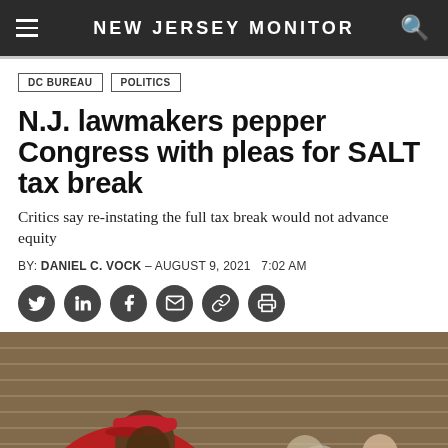NEW JERSEY MONITOR
DC BUREAU
POLITICS
N.J. lawmakers pepper Congress with pleas for SALT tax break
Critics say re-instating the full tax break would not advance equity
BY: DANIEL C. VOCK – AUGUST 9, 2021   7:02 AM
[Figure (photo): People standing in front of a brick wall; man in foreground wearing a red cap and red hoodie]